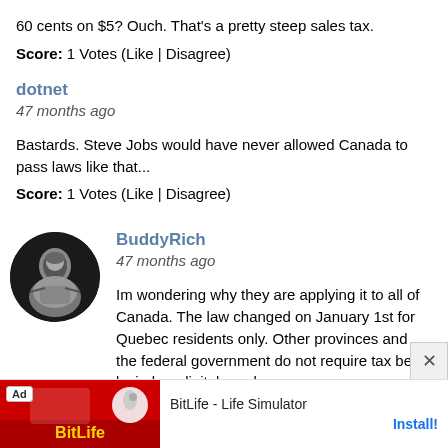60 cents on $5? Ouch. That's a pretty steep sales tax.
Score: 1 Votes (Like | Disagree)
dotnet
47 months ago
Bastards. Steve Jobs would have never allowed Canada to pass laws like that...
Score: 1 Votes (Like | Disagree)
[Figure (photo): Black and white circular avatar photo of BuddyRich, a person sitting at what appears to be drums or a table.]
BuddyRich
47 months ago
Im wondering why they are applying it to all of Canada. The law changed on January 1st for Quebec residents only. Other provinces and the federal government do not require tax be levied on digital goods.
They have the ability to bill by province as each province (like states) have different rates.
Alberta has no PST so is GST only charged there?
[Figure (screenshot): Advertisement banner for BitLife - Life Simulator app with red background image, 'Ad' badge, and Install button.]